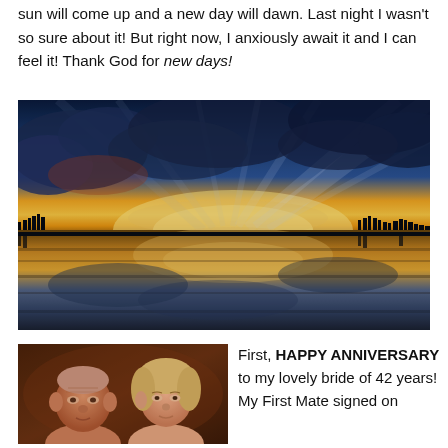sun will come up and a new day will dawn. Last night I wasn't so sure about it! But right now, I anxiously await it and I can feel it! Thank God for new days!
[Figure (photo): Dramatic sunset or sunrise over a lake with reflective water, dark silhouetted treeline, golden and yellow light at the horizon, and striking blue-toned clouds with rays of light breaking through.]
[Figure (photo): Close-up photo of two people (a couple), an older man with white/grey hair and a woman beside him, appearing to be indoors in warm dim lighting.]
First, HAPPY ANNIVERSARY to my lovely bride of 42 years! My First Mate signed on